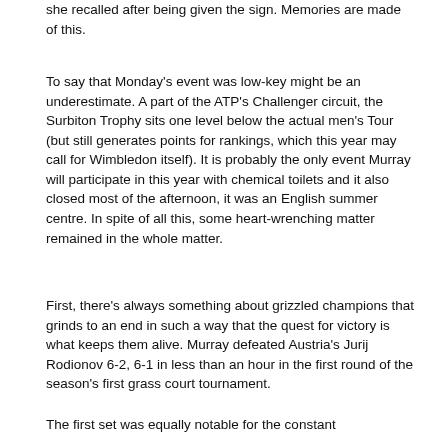she recalled after being given the sign. Memories are made of this.
To say that Monday's event was low-key might be an underestimate. A part of the ATP's Challenger circuit, the Surbiton Trophy sits one level below the actual men's Tour (but still generates points for rankings, which this year may call for Wimbledon itself). It is probably the only event Murray will participate in this year with chemical toilets and it also closed most of the afternoon, it was an English summer centre. In spite of all this, some heart-wrenching matter remained in the whole matter.
First, there's always something about grizzled champions that grinds to an end in such a way that the quest for victory is what keeps them alive. Murray defeated Austria's Jurij Rodionov 6-2, 6-1 in less than an hour in the first round of the season's first grass court tournament.
The first set was equally notable for the constant